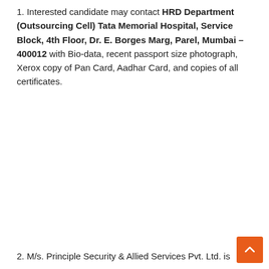1. Interested candidate may contact HRD Department (Outsourcing Cell) Tata Memorial Hospital, Service Block, 4th Floor, Dr. E. Borges Marg, Parel, Mumbai – 400012 with Bio-data, recent passport size photograph, Xerox copy of Pan Card, Aadhar Card, and copies of all certificates.
2. M/s. Principle Security & Allied Services Pvt. Ltd. is Outsourcing Agency for the Supply of Manpower Services